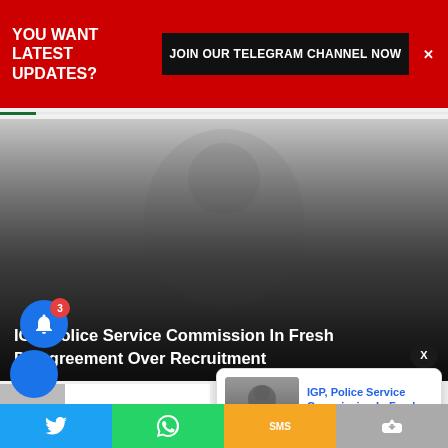YOU WANT LATEST UPDATES? JOIN OUR TELEGRAM CHANNEL NOW
[Figure (photo): News article main image with overlay text about IGP and Police Service Commission recruitment disagreement]
IGP, Police Service Commission In Fresh Disagreement Over Recruitment
[Figure (photo): Notification popup with thumbnail of police officer and article title: IGP, Police Service Commission In Fresh - 3 hours ago]
IGP, Police Service Commission In Fresh
3 hours ago